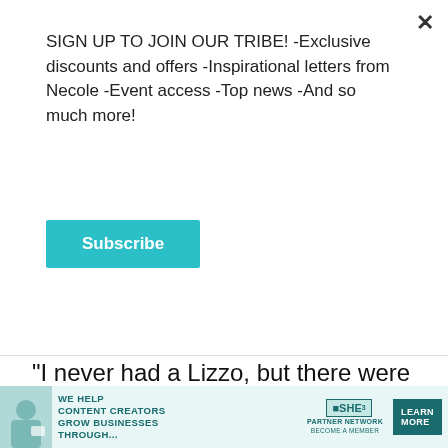SIGN UP TO JOIN OUR TRIBE! -Exclusive discounts and offers -Inspirational letters from Necole -Event access -Top news -And so much more!
Subscribe
"I never had a Lizzo, but there were people before me that gave me hope like Queen Latifah, Missy Elliott and it’s wild that now I’m in spaces where I can share spaces wi… I’ve done a song wit… ‘Tempo’ and she giv… Latifah at the Songw… like man, you are doing everything that you’re
[Figure (screenshot): Video player overlay showing 'Loading ad' text with spinning loading indicator and media controls (pause, fullscreen, mute) on black background]
[Figure (infographic): Advertisement banner: SHE Media Partner Network - 'We help content creators grow businesses through...' with Learn More button]